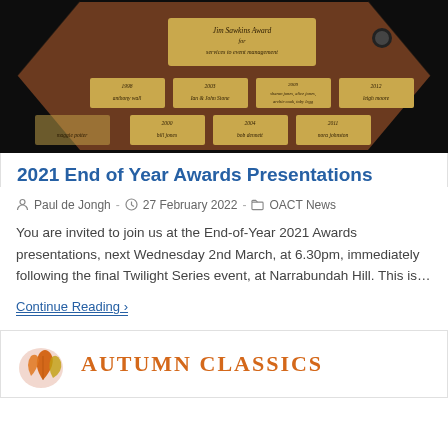[Figure (photo): Wooden hexagonal award plaque labeled 'Jim Sawkins Award for services to event management' with multiple gold name plates showing past recipients and years.]
2021 End of Year Awards Presentations
Paul de Jongh · 27 February 2022 · OACT News
You are invited to join us at the End-of-Year 2021 Awards presentations, next Wednesday 2nd March, at 6.30pm, immediately following the final Twilight Series event, at Narrabundah Hill. This is…
Continue Reading ›
[Figure (logo): Autumn Classics logo with autumn leaf illustration and orange text reading AUTUMN CLASSICS]